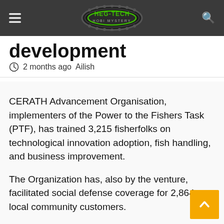HEG-TECH HOBI MYSTERY
development
2 months ago  Ailish
CERATH Advancement Organisation, implementers of the Power to the Fishers Task (PTF), has trained 3,215 fisherfolks on technological innovation adoption, fish handling, and business improvement.
The Organization has, also by the venture, facilitated social defense coverage for 2,864 local community customers.
Dr Lucille Abruquah, the State Director for CERATH Improvement Corporation, said the job